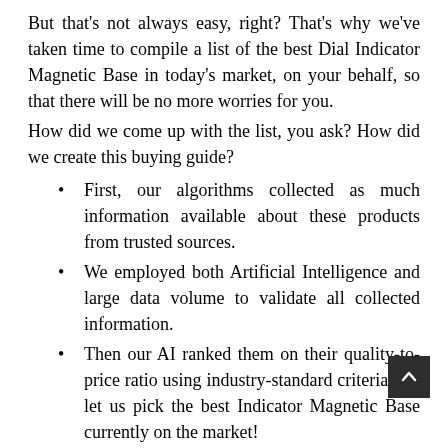But that's not always easy, right? That's why we've taken time to compile a list of the best Dial Indicator Magnetic Base in today's market, on your behalf, so that there will be no more worries for you.
How did we come up with the list, you ask? How did we create this buying guide?
First, our algorithms collected as much information available about these products from trusted sources.
We employed both Artificial Intelligence and large data volume to validate all collected information.
Then our AI ranked them on their quality-to-price ratio using industry-standard criteria that let us pick the best Indicator Magnetic Base currently on the market!